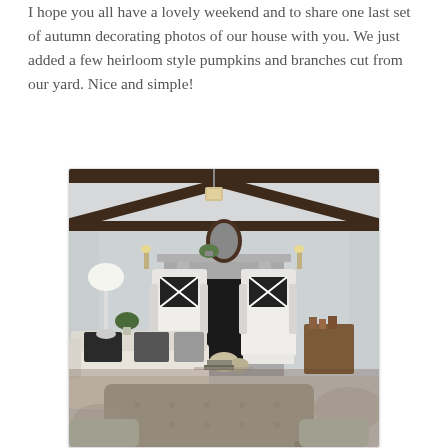I hope you all have a lovely weekend and to share one last set of autumn decorating photos of our house with you. We just added a few heirloom style pumpkins and branches cut from our yard. Nice and simple!
[Figure (photo): Interior photo of a cozy living room with white walls, exposed dark wood ceiling beams, a stone fireplace with a decorative mantel featuring a plant and mirror, two white wingback chairs with plaid pillows flanking the fireplace, a large gray tufted ottoman/bench in the foreground, a light-colored sofa with dark throw pillows on the left, a white floor lamp, and a patterned area rug.]